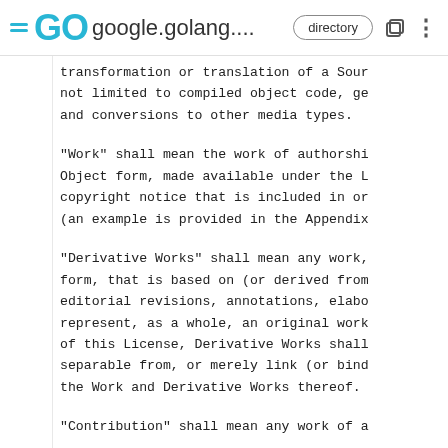GO google.golang.... directory
transformation or translation of a Sour
not limited to compiled object code, ge
and conversions to other media types.
"Work" shall mean the work of authorshi
Object form, made available under the L
copyright notice that is included in or
(an example is provided in the Appendix
"Derivative Works" shall mean any work,
form, that is based on (or derived from
editorial revisions, annotations, elabo
represent, as a whole, an original work
of this License, Derivative Works shall
separable from, or merely link (or bind
the Work and Derivative Works thereof.
"Contribution" shall mean any work of a